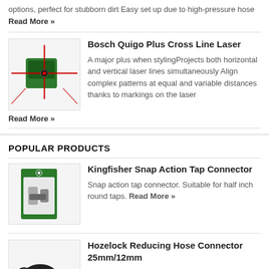options, perfect for stubborn dirt Easy set up due to high-pressure hose Read More »
[Figure (photo): Bosch Quigo Plus Cross Line Laser product image showing a green laser device with red laser beams]
Bosch Quigo Plus Cross Line Laser
A major plus when stylingProjects both horizontal and vertical laser lines simultaneously Align complex patterns at equal and variable distances thanks to markings on the laser Read More »
POPULAR PRODUCTS
[Figure (photo): Kingfisher Snap Action Tap Connector product image showing green packaged connector]
Kingfisher Snap Action Tap Connector
Snap action tap connector. Suitable for half inch round taps. Read More »
[Figure (photo): Hozelock Reducing Hose Connector 25mm/12mm product image showing black hose connector parts]
Hozelock Reducing Hose Connector 25mm/12mm
Hozelock Reducing Hose Connector 25mm/12mm Read More »